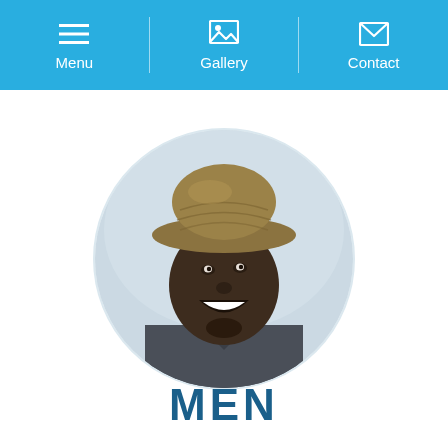Menu  Gallery  Contact
[Figure (photo): Circular portrait photo of a smiling young man wearing a woven straw fedora hat and a dark grey shirt, looking upward with a bright smile, shot against a blurred light background]
MEN